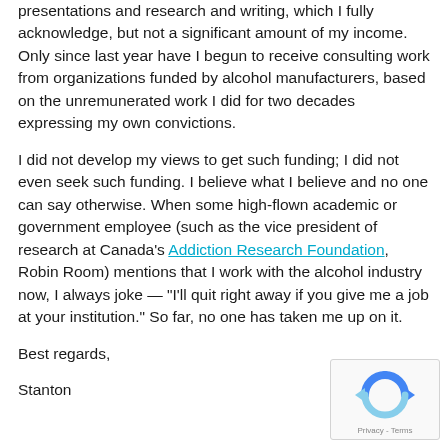presentations and research and writing, which I fully acknowledge, but not a significant amount of my income. Only since last year have I begun to receive consulting work from organizations funded by alcohol manufacturers, based on the unremunerated work I did for two decades expressing my own convictions.
I did not develop my views to get such funding; I did not even seek such funding. I believe what I believe and no one can say otherwise. When some high-flown academic or government employee (such as the vice president of research at Canada's Addiction Research Foundation, Robin Room) mentions that I work with the alcohol industry now, I always joke — "I'll quit right away if you give me a job at your institution." So far, no one has taken me up on it.
Best regards,
Stanton
[Figure (other): reCAPTCHA badge with rotating arrows icon and Privacy - Terms text]